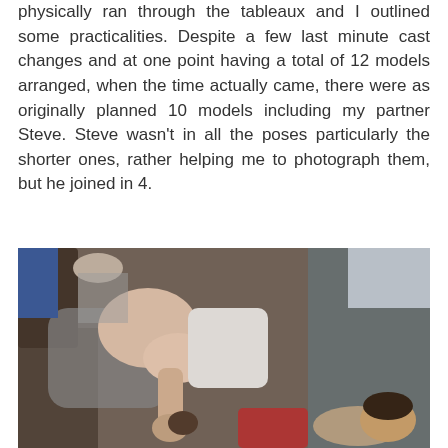physically ran through the tableaux and I outlined some practicalities. Despite a few last minute cast changes and at one point having a total of 12 models arranged, when the time actually came, there were as originally planned 10 models including my partner Steve. Steve wasn't in all the poses particularly the shorter ones, rather helping me to photograph them, but he joined in 4.
[Figure (photo): Photograph of multiple people arranged in physical poses, appearing to be a tableau/art performance setup with people in various positions including lying down and bending.]